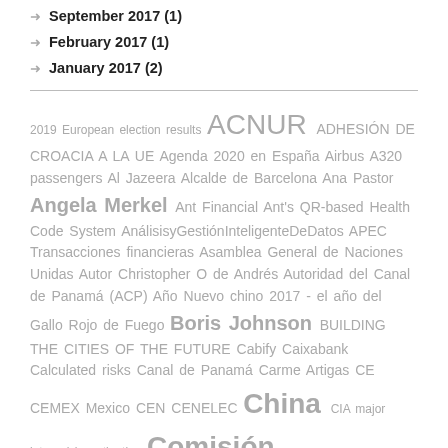September 2017 (1)
February 2017 (1)
January 2017 (2)
2019 European election results ACNUR ADHESIÓN DE CROACIA A LA UE Agenda 2020 en España Airbus A320 passengers Al Jazeera Alcalde de Barcelona Ana Pastor Angela Merkel Ant Financial Ant's QR-based Health Code System AnálisisyGestiónInteligenteDeDatos APEC Transacciones financieras Asamblea General de Naciones Unidas Autor Christopher O de Andrés Autoridad del Canal de Panamá (ACP) Año Nuevo chino 2017 - el año del Gallo Rojo de Fuego Boris Johnson BUILDING THE CITIES OF THE FUTURE Cabify Caixabank Calculated risks Canal de Panamá Carme Artigas CE CEMEX Mexico CEN CENELEC China CIA major internal investigation Comisión Europea Coronavirus COVID-19 Covid-19 COVID19 CRISIS FINANCIERA Cybercrime David Cameron Editorial